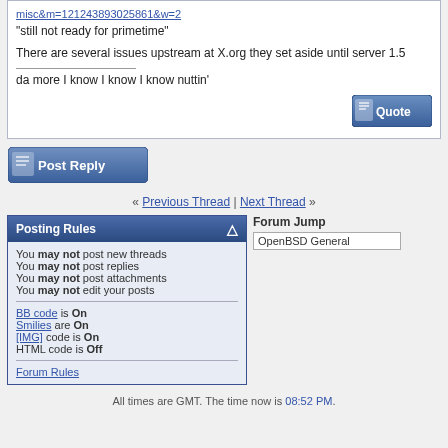misc&m=121243893025861&w=2
"still not ready for primetime"

There are several issues upstream at X.org they set aside until server 1.5

____________________
da more I know I know I know nuttin'
[Figure (screenshot): Quote button - blue gradient button with quote icon]
[Figure (screenshot): Post Reply button - blue gradient button with pen icon]
« Previous Thread | Next Thread »
Posting Rules
You may not post new threads
You may not post replies
You may not post attachments
You may not edit your posts
BB code is On
Smilies are On
[IMG] code is On
HTML code is Off
Forum Rules
Forum Jump
OpenBSD General
All times are GMT. The time now is 08:52 PM.